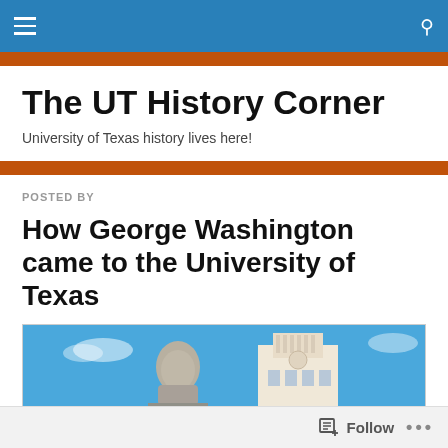The UT History Corner — navigation bar
The UT History Corner
University of Texas history lives here!
POSTED BY
How George Washington came to the University of Texas
[Figure (photo): Photo of a George Washington statue bust in the foreground with the UT Tower building visible against a blue sky in the background.]
Follow  •••